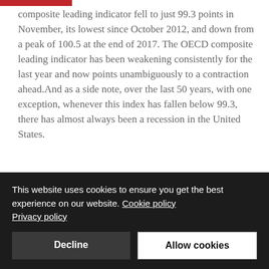composite leading indicator fell to just 99.3 points in November, its lowest since October 2012, and down from a peak of 100.5 at the end of 2017. The OECD composite leading indicator has been weakening consistently for the last year and now points unambiguously to a contraction ahead.And as a side note, over the last 50 years, with one exception, whenever this index has fallen below 99.3, there has almost always been a recession in the United States.
Furthermore, the New York FED's yield curve model implies the probability of the United States being in
This website uses cookies to ensure you get the best experience on our website. Cookie policy Privacy policy